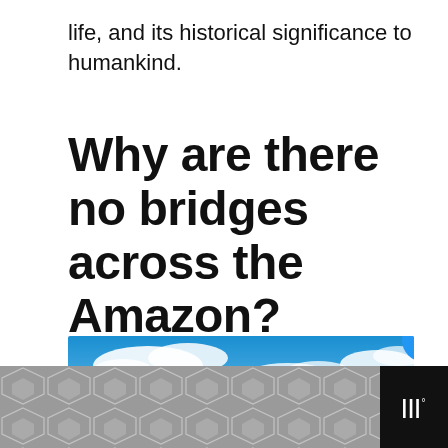life, and its historical significance to humankind.
Why are there no bridges across the Amazon?
[Figure (photo): Aerial/river-level photo of the Amazon rainforest with blue sky, clouds, lush green vegetation and a river in the foreground. A small boat or raft is visible on the water. Overlays include a like button (heart icon, blue circle), a share count of 1, a share button, and a 'WHAT'S NEXT' panel showing 'The 30 Most Beautiful...']
[Figure (infographic): Bottom banner with gray hexagonal/diamond pattern on left and dark background with stylized 'W' logo (white, superscript degree symbol) on right]